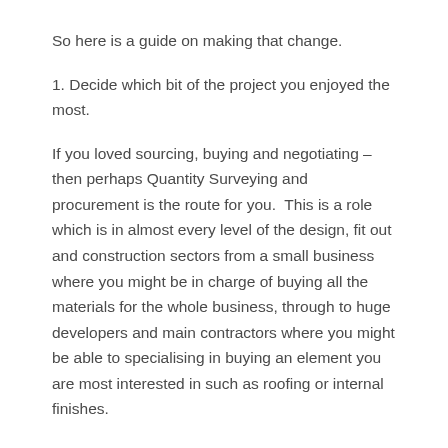So here is a guide on making that change.
1. Decide which bit of the project you enjoyed the most.
If you loved sourcing, buying and negotiating – then perhaps Quantity Surveying and procurement is the route for you.  This is a role which is in almost every level of the design, fit out and construction sectors from a small business where you might be in charge of buying all the materials for the whole business, through to huge developers and main contractors where you might be able to specialising in buying an element you are most interested in such as roofing or internal finishes.